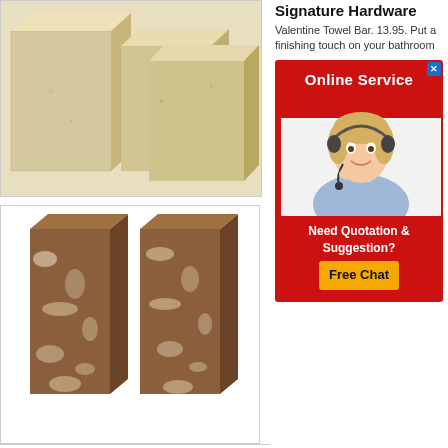[Figure (photo): Close-up photo of light beige/cream colored rectangular brick blocks stacked together]
[Figure (photo): Two rectangular stone/granite blocks with brown and white mottled texture standing upright side by side on white background]
Signature Hardware
Valentine Towel Bar. 13.95. Put a finishing touch on your bathroom
[Figure (infographic): Red Online Service advertisement banner with close X button, showing a female customer service agent wearing a headset]
Need Quotation & Suggestion?
Free Chat
Towel BarSatin NickelHarney